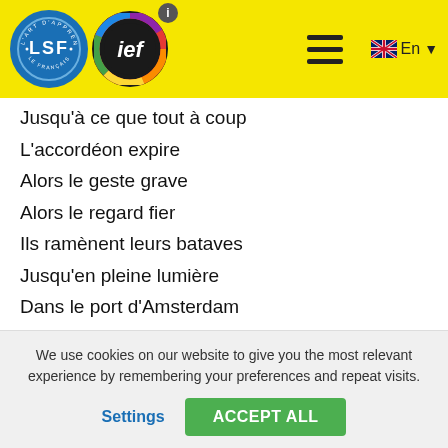[Figure (logo): LSF (L'art d'apprendre le français) blue circle logo and IEF colorful circle logo with info badge, plus hamburger menu and English language selector on yellow header bar]
Jusqu'à ce que tout à coup
L'accordéon expire
Alors le geste grave
Alors le regard fier
Ils ramènent leurs bataves
Jusqu'en pleine lumière
Dans le port d'Amsterdam
Y a des marins qui boivent
Et qui boivent et re-boivent
Et qui re-boivent encore
Ils boivent à la santé
We use cookies on our website to give you the most relevant experience by remembering your preferences and repeat visits.
Settings | ACCEPT ALL